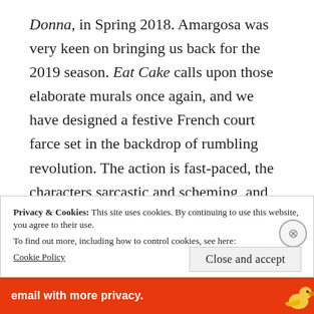Donna, in Spring 2018. Amargosa was very keen on bringing us back for the 2019 season. Eat Cake calls upon those elaborate murals once again, and we have designed a festive French court farce set in the backdrop of rumbling revolution. The action is fast-paced, the characters sarcastic and scheming, and the behavior scandalous. Our script calls for four
Privacy & Cookies: This site uses cookies. By continuing to use this website, you agree to their use.
To find out more, including how to control cookies, see here:
Cookie Policy
Close and accept
[Figure (infographic): Orange advertisement bar at bottom with text 'email with more privacy.' and a DuckDuckGo duck logo on the right]